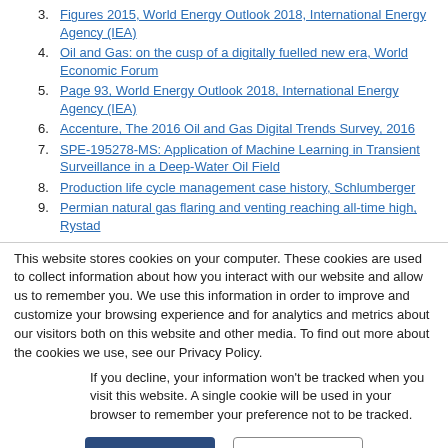3. Figures 2015, World Energy Outlook 2018, International Energy Agency (IEA)
4. Oil and Gas: on the cusp of a digitally fuelled new era, World Economic Forum
5. Page 93, World Energy Outlook 2018, International Energy Agency (IEA)
6. Accenture, The 2016 Oil and Gas Digital Trends Survey, 2016
7. SPE-195278-MS: Application of Machine Learning in Transient Surveillance in a Deep-Water Oil Field
8. Production life cycle management case history, Schlumberger
9. Permian natural gas flaring and venting reaching all-time high, Rystad
This website stores cookies on your computer. These cookies are used to collect information about how you interact with our website and allow us to remember you. We use this information in order to improve and customize your browsing experience and for analytics and metrics about our visitors both on this website and other media. To find out more about the cookies we use, see our Privacy Policy.
If you decline, your information won't be tracked when you visit this website. A single cookie will be used in your browser to remember your preference not to be tracked.